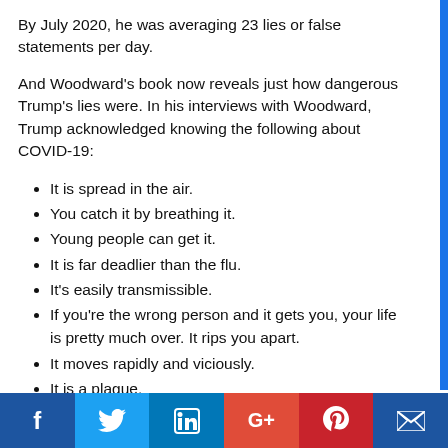By July 2020, he was averaging 23 lies or false statements per day.
And Woodward's book now reveals just how dangerous Trump's lies were. In his interviews with Woodward, Trump acknowledged knowing the following about COVID-19:
It is spread in the air.
You catch it by breathing it.
Young people can get it.
It is far deadlier than the flu.
It's easily transmissible.
If you're the wrong person and it gets you, your life is pretty much over. It rips you apart.
It moves rapidly and viciously.
It is a plague.
But he was telling the nation the opposite:
Social share bar: Facebook, Twitter, LinkedIn, Google+, Pinterest, Crown/Email